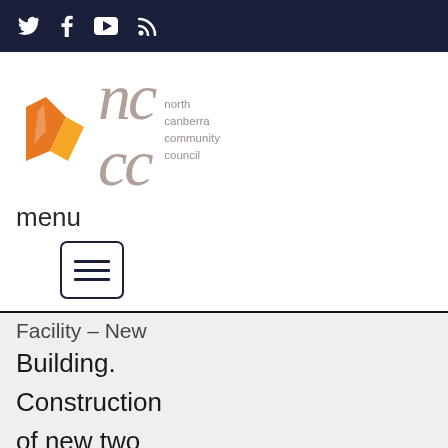Twitter Facebook YouTube RSS (social media icons)
[Figure (logo): North Canberra Community Council logo with orange angular shape and 'nccc' text in grey serif letters, followed by text 'north canberra community council']
menu
[Figure (other): Hamburger menu button - square with three horizontal lines]
Facility – New Building. Construction of new two storey building comprise of new church